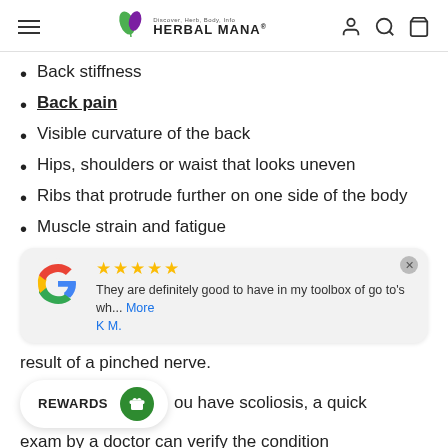Herbal Mana
Back stiffness
Back pain
Visible curvature of the back
Hips, shoulders or waist that looks uneven
Ribs that protrude further on one side of the body
Muscle strain and fatigue
[Figure (screenshot): Google review card with 5 stars. Review text: 'They are definitely good to have in my toolbox of go to's wh... More'. Reviewer: K M.]
result of a pinched nerve.
If you have scoliosis, a quick exam by a doctor can verify the condition